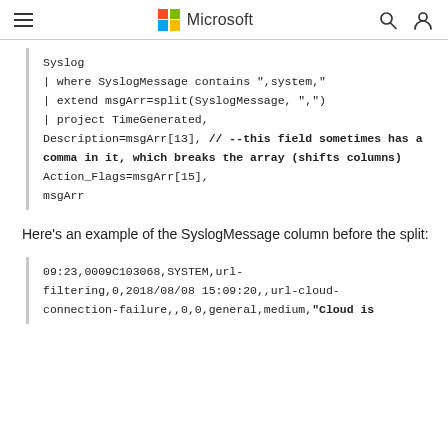Microsoft
Syslog
| where SyslogMessage contains ",system,"
| extend msgArr=split(SyslogMessage, ",")
| project TimeGenerated,
Description=msgArr[13], // --this field sometimes has a comma in it, which breaks the array (shifts columns)
Action_Flags=msgArr[15],
msgArr
Here's an example of the SyslogMessage column before the split:
09:23,0009C103068,SYSTEM,url-filtering,0,2018/08/08 15:09:20,,url-cloud-connection-failure,,0,0,general,medium,"Cloud is